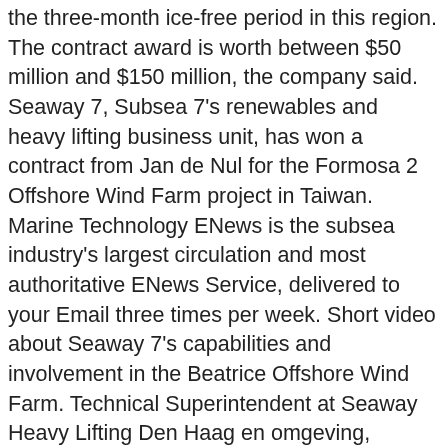the three-month ice-free period in this region. The contract award is worth between $50 million and $150 million, the company said. Seaway 7, Subsea 7's renewables and heavy lifting business unit, has won a contract from Jan de Nul for the Formosa 2 Offshore Wind Farm project in Taiwan. Marine Technology ENews is the subsea industry's largest circulation and most authoritative ENews Service, delivered to your Email three times per week. Short video about Seaway 7's capabilities and involvement in the Beatrice Offshore Wind Farm. Technical Superintendent at Seaway Heavy Lifting Den Haag en omgeving, Nederland Meer dan 500 connecties. Tekmar Wins OWP in Taiwan from Seaway 7. Steph McNeill, SVP Subsea 7 Renewables & Heavy Lifting, said, "We are pleased to have the opportunity to continue to support the Jan De Nul Group in the … The contract scope includes the transport ation, pre -piling and installation of 47 jacket foundations for wind turbines. VideoRay is the largest volume producer of Underwater ROVs (Remotely Operated Vehicles) in the world. Lid worden en connectie maken Seaway Heavy